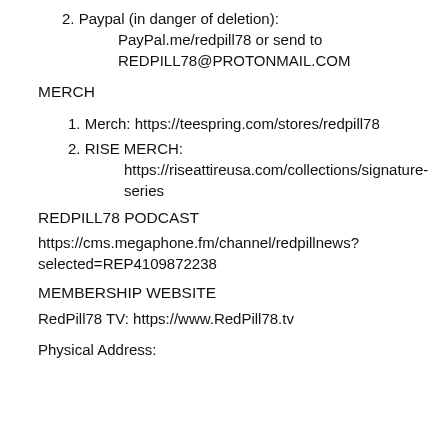2. Paypal (in danger of deletion): PayPal.me/redpill78 or send to REDPILL78@PROTONMAIL.COM
MERCH
1. Merch: https://teespring.com/stores/redpill78
2. RISE MERCH: https://riseattireusa.com/collections/signature-series
REDPILL78 PODCAST
https://cms.megaphone.fm/channel/redpillnews?selected=REP4109872238
MEMBERSHIP WEBSITE
RedPill78 TV: https://www.RedPill78.tv
Physical Address: